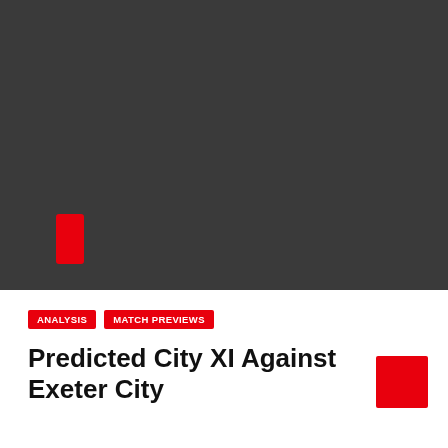[Figure (photo): Dark grey/black image area with a red rectangular card/tag visible in the lower left portion of the image.]
ANALYSIS    MATCH PREVIEWS
Predicted City XI Against Exeter City